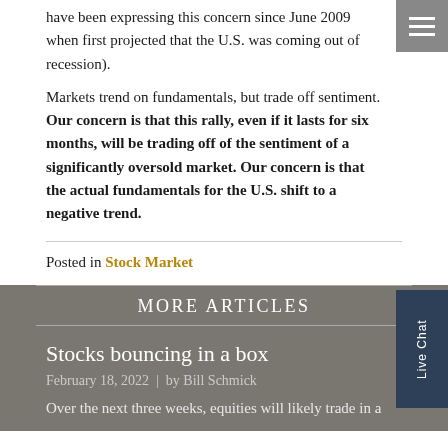have been expressing this concern since June 2009 when first projected that the U.S. was coming out of recession).
Markets trend on fundamentals, but trade off sentiment. Our concern is that this rally, even if it lasts for six months, will be trading off of the sentiment of a significantly oversold market. Our concern is that the actual fundamentals for the U.S. shift to a negative trend.
Posted in Stock Market
MORE ARTICLES
Stocks bouncing in a box
February 18, 2022 | by Bill Schmick
Over the next three weeks, equities will likely trade in a